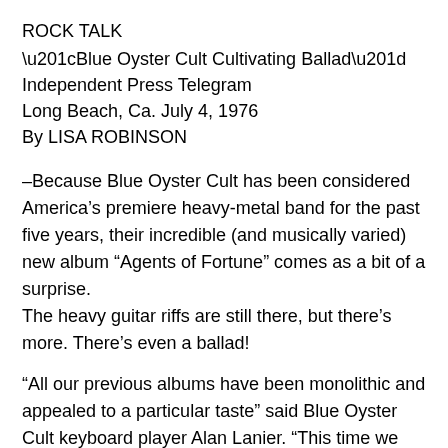ROCK TALK
“Blue Oyster Cult Cultivating Ballad”
Independent Press Telegram
Long Beach, Ca. July 4, 1976
By LISA ROBINSON
–Because Blue Oyster Cult has been considered America’s premiere heavy-metal band for the past five years, their incredible (and musically varied) new album “Agents of Fortune” comes as a bit of a surprise.
The heavy guitar riffs are still there, but there’s more. There’s even a ballad!
“All our previous albums have been monolithic and appealed to a particular taste” said Blue Oyster Cult keyboard player Alan Lanier. “This time we forgot about titles and concepts, we wanted it to be more musical, this album is breaking out in a way that